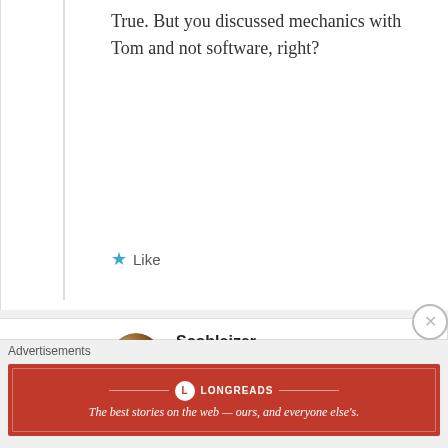True. But you discussed mechanics with Tom and not software, right?
Like
[Figure (photo): Round avatar photo of user Scobleizer, showing a dark brownish insect or beetle-like image]
Scobleizer
March 25, 2011 at 7:31 pm
I always talk about software. I said “in my
Advertisements
LONGREADS — The best stories on the web — ours, and everyone else's.